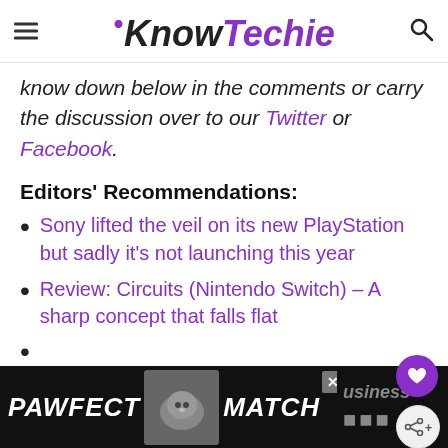KnowTechie
know down below in the comments or carry the discussion over to our Twitter or Facebook.
Editors' Recommendations:
Sony lifted the veil on its new PlayStation but sadly it's not launching this year
Review: Circuits (Nintendo Switch) – A sharp concept that falls flat
Twitter...usiness
[Figure (photo): PAWFECT MATCH advertisement banner with cat photo at bottom of page]